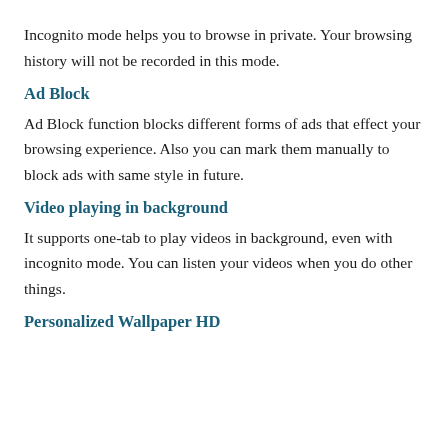Incognito mode helps you to browse in private. Your browsing history will not be recorded in this mode.
Ad Block
Ad Block function blocks different forms of ads that effect your browsing experience. Also you can mark them manually to block ads with same style in future.
Video playing in background
It supports one-tab to play videos in background, even with incognito mode. You can listen your videos when you do other things.
Personalized Wallpaper HD